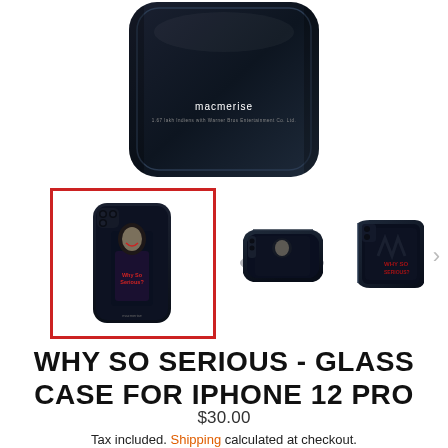[Figure (photo): Back of a dark phone case with 'macmerise' branding, showing top portion — main product hero image]
[Figure (photo): Thumbnail 1 (selected, red border): Front view of iPhone 12 Pro with Joker 'Why So Serious?' phone case — dark with Joker character]
[Figure (photo): Thumbnail 2: Side/flat view of the same Joker phone case]
[Figure (photo): Thumbnail 3: Another angled view of the Joker phone case]
WHY SO SERIOUS - GLASS CASE FOR IPHONE 12 PRO
$30.00
Tax included. Shipping calculated at checkout.